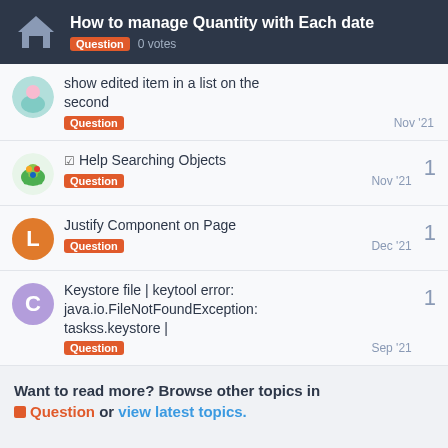How to manage Quantity with Each date — Question 0 votes
show edited item in a list on the second — Question — Nov '21
Help Searching Objects — Question — Nov '21 — 1
Justify Component on Page — Question — Dec '21 — 1
Keystore file | keytool error: java.io.FileNotFoundException: taskss.keystore | — Question — Sep '21 — 1
Want to read more? Browse other topics in Question or view latest topics.